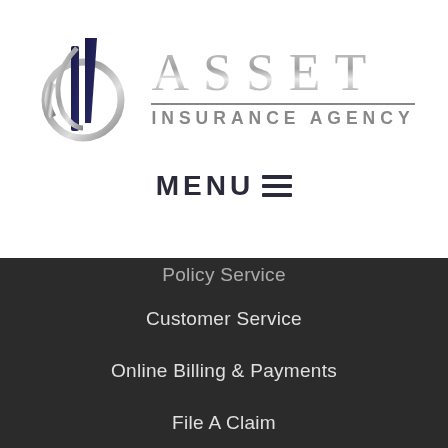[Figure (logo): Asset Insurance Agency logo with stylized 'b' mark in silver and navy, and text 'ASSET INSURANCE AGENCY']
MENU ≡
Policy Service
Customer Service
Online Billing & Payments
File A Claim